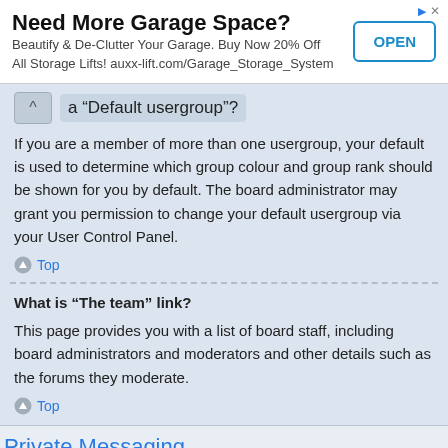[Figure (other): Advertisement banner: 'Need More Garage Space? Beautify & De-Clutter Your Garage. Buy Now 20% Off All Storage Lifts! auxx-lift.com/Garage_Storage_System' with an OPEN button]
a “Default usergroup”?
If you are a member of more than one usergroup, your default is used to determine which group colour and group rank should be shown for you by default. The board administrator may grant you permission to change your default usergroup via your User Control Panel.
Top
What is “The team” link?
This page provides you with a list of board staff, including board administrators and moderators and other details such as the forums they moderate.
Top
Private Messaging
I cannot send private messages!
There are three reasons for this; you are not registered and/or not logged on, the board administrator has disabled private messaging for the entire board, or the board administrator has prevented you from sending messages. Contact a